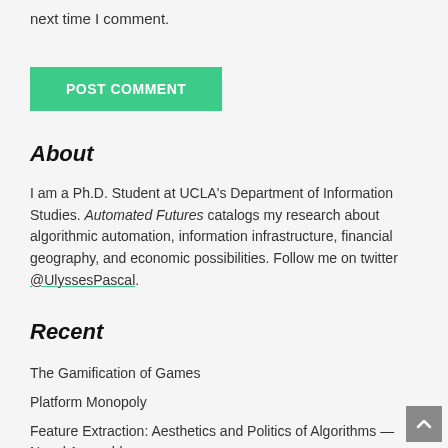next time I comment.
POST COMMENT
About
I am a Ph.D. Student at UCLA's Department of Information Studies. Automated Futures catalogs my research about algorithmic automation, information infrastructure, financial geography, and economic possibilities. Follow me on twitter @UlyssesPascal.
Recent
The Gamification of Games
Platform Monopoly
Feature Extraction: Aesthetics and Politics of Algorithms — Navel Assembly
NASDAQ IN THE NEWS [1969-1989]